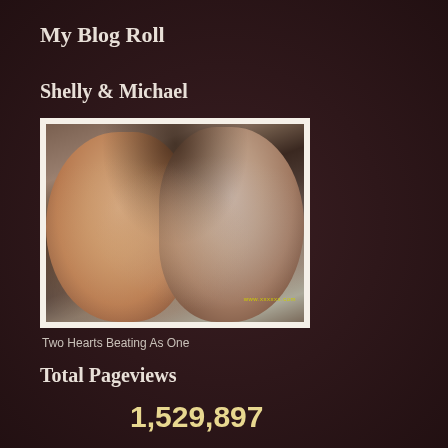My Blog Roll
Shelly & Michael
[Figure (photo): Photo of a couple (woman with red-tinted sunglasses and a man) posing together, smiling at the camera. White border frame around the photo. Small yellow watermark text visible in lower right of photo.]
Two Hearts Beating As One
Total Pageviews
1,529,897